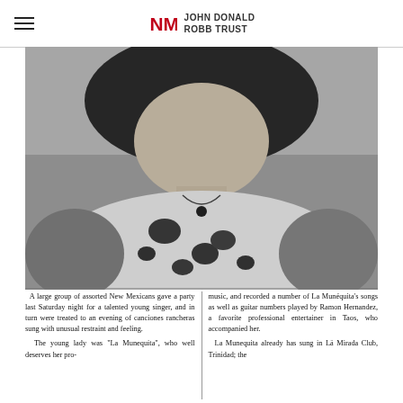JOHN DONALD ROBB TRUST
[Figure (photo): Black and white newspaper photograph of a young woman (La Munequita) from the shoulders up, wearing a floral patterned dress with a necklace, hair dark and curly, background appears to be outdoors.]
A large group of assorted New Mexicans gave a party last Saturday night for a talented young singer, and in turn were treated to an evening of canciones rancheras sung with unusual restraint and feeling.
The young lady was "La Munequita", who well deserves her pro-
music, and recorded a number of La Munequita's songs as well as guitar numbers played by Ramon Hernandez, a favorite professional entertainer in Taos, who accompanied her.
La Munequita already has sung in La Mirada Club, Trinidad; the